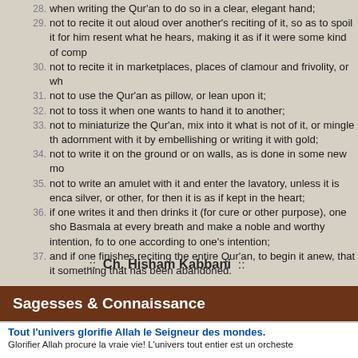28. when writing the Qur'an to do so in a clear, elegant hand;
29. not to recite it out aloud over another's reciting of it, so as to spoil it for him resent what he hears, making it as if it were some kind of comp
30. not to recite it in marketplaces, places of clamour and frivolity, or wh
31. not to use the Qur'an as pillow, or lean upon it;
32. not to toss it when one wants to hand it to another;
33. not to miniaturize the Qur'an, mix into it what is not of it, or mingle th adornment with it by embellishing or writing it with gold;
34. not to write it on the ground or on walls, as is done in some new mo
35. not to write an amulet with it and enter the lavatory, unless it is enca silver, or other, for then it is as if kept in the heart;
36. if one writes it and then drinks it (for cure or other purpose), one sho Basmala at every breath and make a noble and worthy intention, fo to one according to one's intention;
37. and if one finishes reciting the entire Qur'an, to begin it anew, that it something that has been abandoned.
:: Ch. Hisham Kabbani ::
Sagesses & Connaissance
Tout l'univers glorifie Allah le Seigneur des mondes.
Glorifier Allah procure la vraie vie! L'univers tout entier est un orcheste